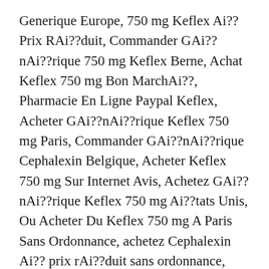Generique Europe, 750 mg Keflex Ai?? Prix RAi??duit, Commander GAi??nAi??rique 750 mg Keflex Berne, Achat Keflex 750 mg Bon MarchAi??, Pharmacie En Ligne Paypal Keflex, Acheter GAi??nAi??rique Keflex 750 mg Paris, Commander GAi??nAi??rique Cephalexin Belgique, Acheter Keflex 750 mg Sur Internet Avis, Achetez GAi??nAi??rique Keflex 750 mg Ai??tats Unis, Ou Acheter Du Keflex 750 mg A Paris Sans Ordonnance, achetez Cephalexin Ai?? prix rAi??duit sans ordonnance, Achat GAi??nAi??rique Keflex Cephalexin ZA?rich, Cephalexin Acheter En Belgique, Commander Cephalexin Moins Cher Sans Ordonnance, Commander Keflex En Ligne Forum, Achetez GAi??nAi??rique Keflex 750 mg Strasbourg, Achat GAi??nAi??rique Keflex Ai?? Prix RAi??duit, Acheter Du Vrai 750 mg Keflex Pas Cher, Achat Keflex 750 mg En Ligne Avis, Achat Keflex Livraison 48h, Achetez GAi??nAi??rique Keflex AgrAi??able, Acheter Du...